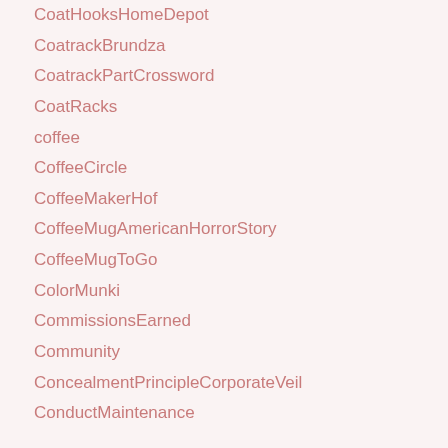CoatHooksHomeDepot
CoatrackBrundza
CoatrackPartCrossword
CoatRacks
coffee
CoffeeCircle
CoffeeMakerHof
CoffeeMugAmericanHorrorStory
CoffeeMugToGo
ColorMunki
CommissionsEarned
Community
ConcealmentPrincipleCorporateVeil
ConductMaintenance